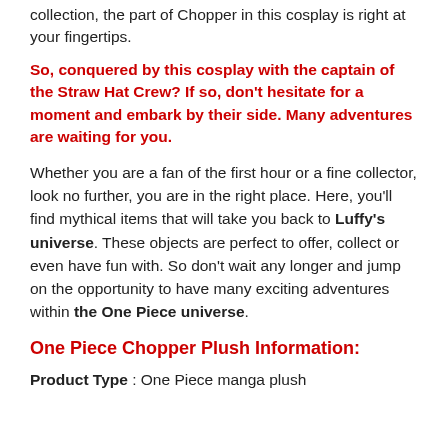collection, the part of Chopper in this cosplay is right at your fingertips.
So, conquered by this cosplay with the captain of the Straw Hat Crew? If so, don't hesitate for a moment and embark by their side. Many adventures are waiting for you.
Whether you are a fan of the first hour or a fine collector, look no further, you are in the right place. Here, you'll find mythical items that will take you back to Luffy's universe. These objects are perfect to offer, collect or even have fun with. So don't wait any longer and jump on the opportunity to have many exciting adventures within the One Piece universe.
One Piece Chopper Plush Information:
Product Type : One Piece manga plush